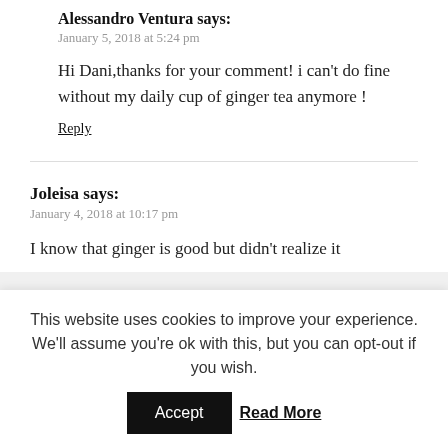Alessandro Ventura says:
January 5, 2018 at 5:24 pm
Hi Dani,thanks for your comment! i can't do fine without my daily cup of ginger tea anymore !
Reply
Joleisa says:
January 4, 2018 at 10:17 pm
I know that ginger is good but didn't realize it
This website uses cookies to improve your experience. We'll assume you're ok with this, but you can opt-out if you wish.
Accept
Read More